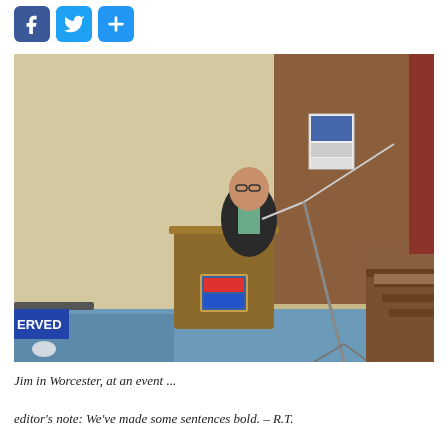[Figure (other): Social media sharing buttons: Facebook (blue f), Twitter (blue bird), and a blue plus/share button]
[Figure (photo): A man standing at a wooden podium speaking into a microphone at an event in Worcester. He is wearing a dark jacket. The room has tan/beige walls, auditorium-style seating steps visible on the right, and a microphone stand. A blue sign with 'ERVED' visible in lower left corner.]
Jim in Worcester, at an event ...
editor's note: We've made some sentences bold. – R.T.